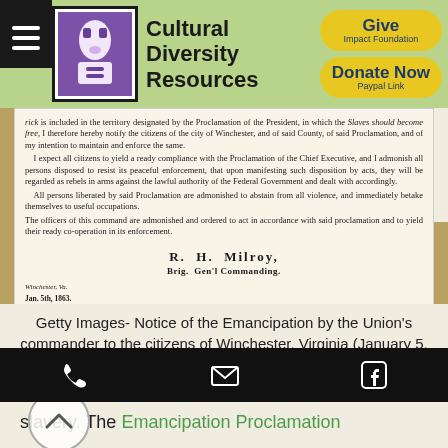Cultural Diversity Resources
[Figure (screenshot): Scanned historical document - Notice of the Emancipation Proclamation by R. H. Milroy, Brig. Gen'l Commanding, dated Jan. 5th, 1863, addressed to citizens of Winchester, Virginia]
Getty Images- Notice of the Emancipation by the Union's commander to the citizens of Winchester, Virginia (January 5, 1863)
On June 19, 1865, Major General Gordon Granger arrived with his Union
slavery. The Emancipation Proclamation